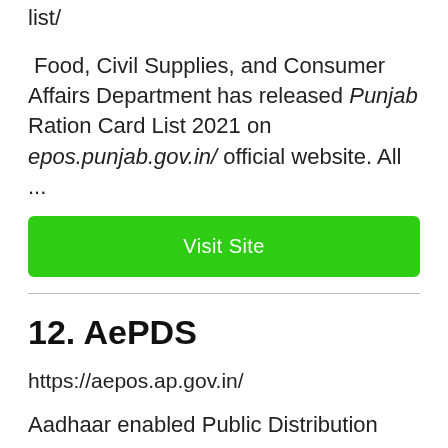list/
Food, Civil Supplies, and Consumer Affairs Department has released Punjab Ration Card List 2021 on epos.punjab.gov.in/ official website. All ...
Visit Site
12. AePDS
https://aepos.ap.gov.in/
Aadhaar enabled Public Distribution System – AePDS. Department of Consumer Affairs,Food &